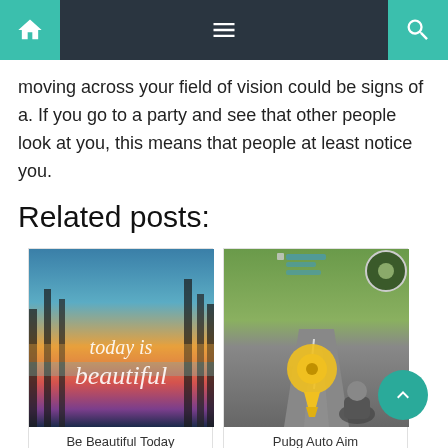Navigation bar with home, menu, and search icons
moving across your field of vision could be signs of a. If you go to a party and see that other people look at you, this means that people at least notice you.
Related posts:
[Figure (photo): Image of a colorful sunset with trees and script text reading 'today is beautiful']
Be Beautiful Today
[Figure (screenshot): Screenshot of PUBG mobile game showing gameplay with joystick controls and minimap]
Pubg Auto Aim